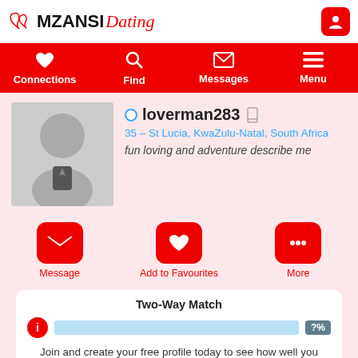MZANSI Dating
Connections | Find | Messages | Menu
[Figure (photo): Default male silhouette avatar placeholder in a grey square]
loverman283
35 – St Lucia, KwaZulu-Natal, South Africa
fun loving and adventure describe me
Message | Add to Favourites | More
Two-Way Match
?%
Join and create your free profile today to see how well you match with him, and hundreds more.
Join now
Online: More than 6 months ago